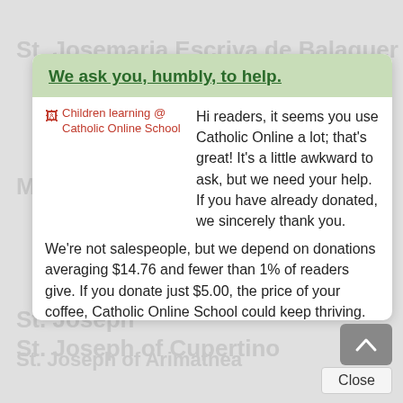St. Josemaria Escriva de Balaguer
Merry Christmas
St. Joseph
St. Joseph
St. Joseph of Cupertino
St. Joseph of Arimathea
We ask you, humbly, to help.
[Figure (other): Broken image placeholder with red text: Children learning @ Catholic Online School]
Hi readers, it seems you use Catholic Online a lot; that's great! It's a little awkward to ask, but we need your help. If you have already donated, we sincerely thank you.
We're not salespeople, but we depend on donations averaging $14.76 and fewer than 1% of readers give. If you donate just $5.00, the price of your coffee, Catholic Online School could keep thriving. Thank you.
Help Now
Close